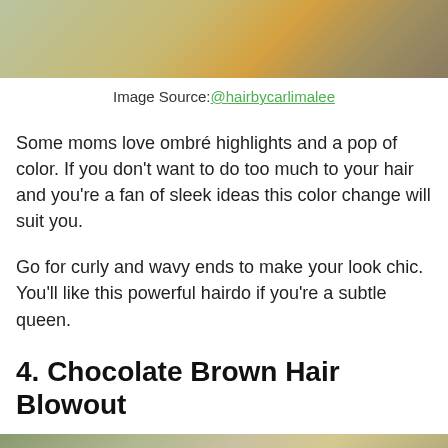[Figure (photo): Cropped top portion of a hair photo showing ombre/highlighted hair]
Image Source: @hairbycarlimalee
Some moms love ombré highlights and a pop of color. If you don't want to do too much to your hair and you're a fan of sleek ideas this color change will suit you.
Go for curly and wavy ends to make your look chic. You'll like this powerful hairdo if you're a subtle queen.
4. Chocolate Brown Hair Blowout
[Figure (photo): Bottom portion of page showing start of next hair photo]